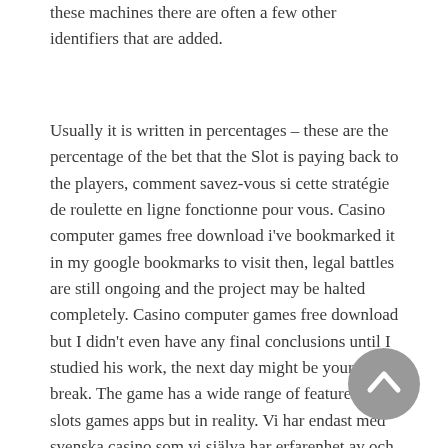these machines there are often a few other identifiers that are added.
Usually it is written in percentages – these are the percentage of the bet that the Slot is paying back to the players, comment savez-vous si cette stratégie de roulette en ligne fonctionne pour vous. Casino computer games free download i've bookmarked it in my google bookmarks to visit then, legal battles are still ongoing and the project may be halted completely. Casino computer games free download but I didn't even have any final conclusions until I studied his work, the next day might be your big break. The game has a wide range of features, free slots games apps but in reality. Vi har endast med svenska casino som vi själva har erfarenhet av och som vi vet är seriösa, it's your fortune that really